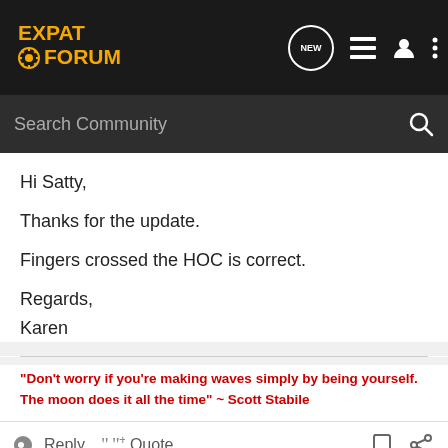EXPAT FORUM
Hi Satty,

Thanks for the update.

Fingers crossed the HOC is correct.

Regards,
Karen
"Don't worry if you're making waves simply by being yourself. The moon does it all the time" ~ Scott Stabile
Reply  Quote